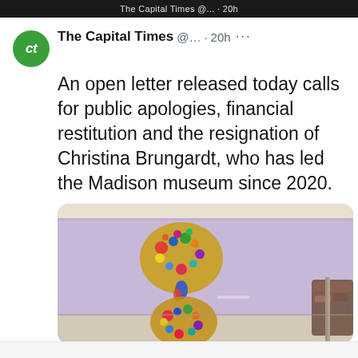The Capital Times tweet screenshot header bar
The Capital Times @... · 20h ···
An open letter released today calls for public apologies, financial restitution and the resignation of Christina Brungardt, who has led the Madison museum since 2020.
[Figure (photo): Museum interior with lavender/purple wall displaying colorful mixed-media sculptures mounted on the wall]
captimes.com